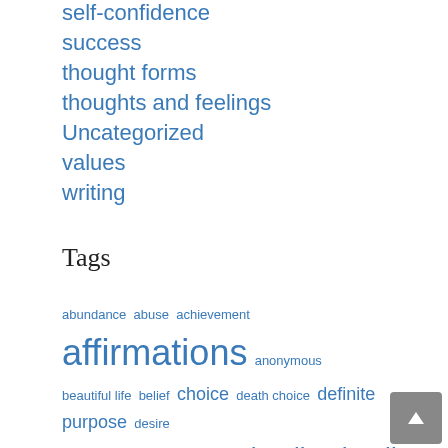self-confidence
success
thought forms
thoughts and feelings
Uncategorized
values
writing
Tags
abundance abuse achievement affirmations anonymous beautiful life belief choice death choice definite purpose desire family and friends grace of god healing healing prayer houston chronicle imagery life and death manifesting mark mind-body mind-body psyhology motivation Napoleon Hill